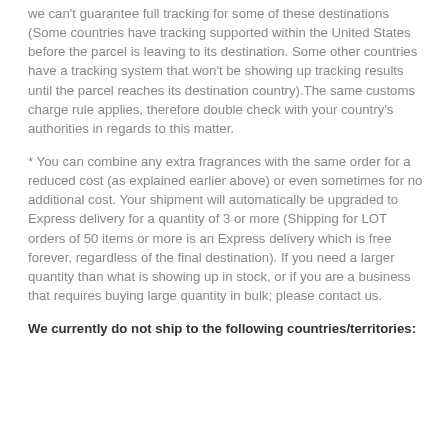we can't guarantee full tracking for some of these destinations (Some countries have tracking supported within the United States before the parcel is leaving to its destination. Some other countries have a tracking system that won't be showing up tracking results until the parcel reaches its destination country).The same customs charge rule applies, therefore double check with your country's authorities in regards to this matter.
* You can combine any extra fragrances with the same order for a reduced cost (as explained earlier above) or even sometimes for no additional cost. Your shipment will automatically be upgraded to Express delivery for a quantity of 3 or more (Shipping for LOT orders of 50 items or more is an Express delivery which is free forever, regardless of the final destination). If you need a larger quantity than what is showing up in stock, or if you are a business that requires buying large quantity in bulk; please contact us.
We currently do not ship to the following countries/territories: